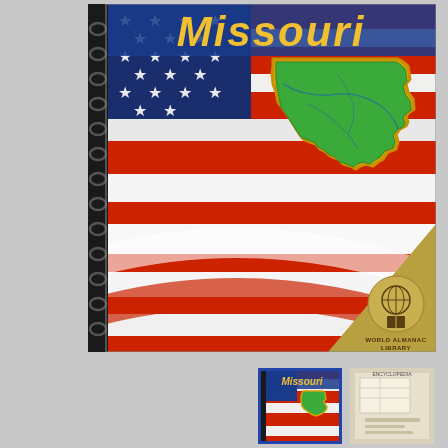[Figure (photo): Cover of a spiral-bound book titled 'Missouri' from the World Almanac Library series. The cover features an American flag background (red, white, and blue stripes and stars) with a green outline map of Missouri state overlaid. A gold/olive diagonal banner in the lower right corner contains the World Almanac Library globe logo. The left side shows spiral binding.]
[Figure (photo): Thumbnail image of the same Missouri World Almanac Library book cover, shown smaller with a blue border/selection highlight.]
[Figure (photo): Thumbnail image of a second book or document cover with maps/documents visible, lighter colored cover.]